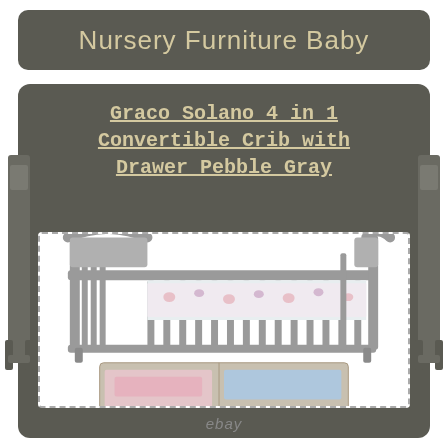Nursery Furniture Baby
Graco Solano 4 in 1 Convertible Crib with Drawer Pebble Gray
[Figure (photo): Photo of a gray Graco Solano 4-in-1 convertible crib with an open drawer at the bottom containing bedding, displayed against a white background]
ebay